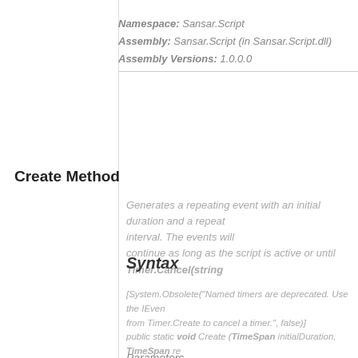Namespace: Sansar.Script
Assembly: Sansar.Script (in Sansar.Script.dll)
Assembly Versions: 1.0.0.0
Create Method
Generates a repeating event with an initial duration and a repeat interval. The events will continue as long as the script is active or until Timer.Cancel(string
Syntax
[System.Obsolete("Named timers are deprecated. Use the IEvent return value from Timer.Create to cancel a timer.", false)] public static void Create ( TimeSpan initialDuration, TimeSpan re... handler, string name)
Parameters
initialDuration
The minimum duration to elapse before the even...